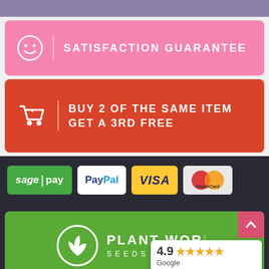[Figure (infographic): Purple top bar]
SATISFACTION GUARANTEE
BUY 2 OF THE SAME ITEM GET A 3RD FREE
[Figure (infographic): Payment badges: sage pay, PayPal, VISA, MasterCard]
[Figure (logo): Plant World Seeds logo with green background and Google Customer Reviews badge showing 4.9 stars]